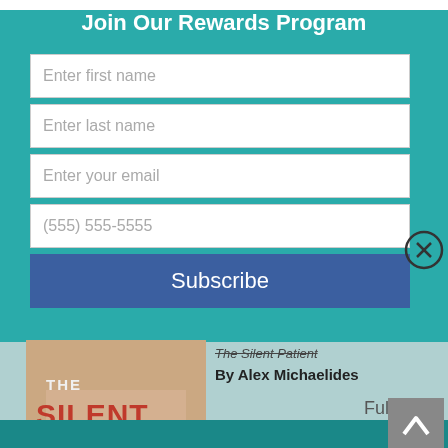Join Our Rewards Program
Enter first name
Enter last name
Enter your email
(555) 555-5555
Subscribe
[Figure (photo): Book cover of The Silent Patient by Alex Michaelides]
The Silent Patient
By Alex Michaelides
Full List